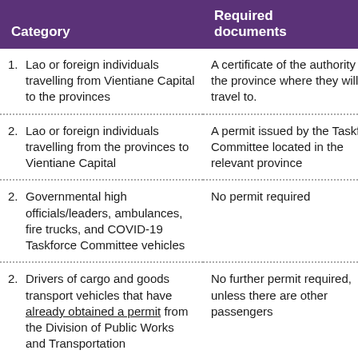| Category | Required documents |
| --- | --- |
| 1. Lao or foreign individuals travelling from Vientiane Capital to the provinces | A certificate of the authority of the province where they will travel to. |
| 2. Lao or foreign individuals travelling from the provinces to Vientiane Capital | A permit issued by the Taskforce Committee located in the relevant province |
| 2. Governmental high officials/leaders, ambulances, fire trucks, and COVID-19 Taskforce Committee vehicles | No permit required |
| 2. Drivers of cargo and goods transport vehicles that have already obtained a permit from the Division of Public Works and Transportation | No further permit required, unless there are other passengers |